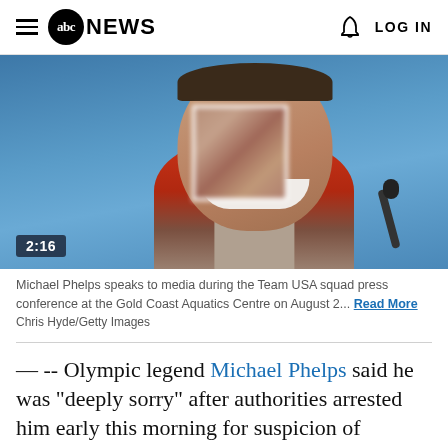abc NEWS  LOG IN
[Figure (photo): Michael Phelps smiling at a press conference with a blurred box over part of his face, time badge showing 2:16]
Michael Phelps speaks to media during the Team USA squad press conference at the Gold Coast Aquatics Centre on August 2... Read More
Chris Hyde/Getty Images
&#151; -- Olympic legend Michael Phelps said he was "deeply sorry" after authorities arrested him early this morning for suspicion of